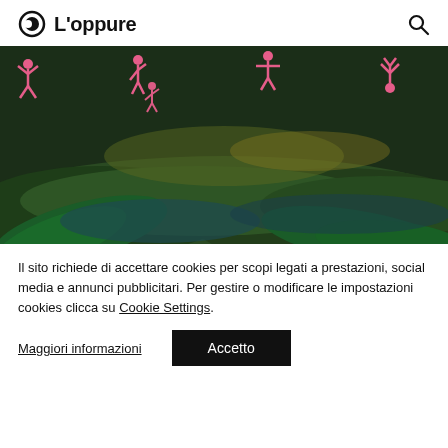L'oppure
[Figure (illustration): Dark animated scene with a lush green landscape and pink stick-figure characters in various acrobatic or yoga poses floating above rolling hills and large green leaves. The background features dark greens, teals, and warm yellow-orange glows.]
Il sito richiede di accettare cookies per scopi legati a prestazioni, social media e annunci pubblicitari. Per gestire o modificare le impostazioni cookies clicca su Cookie Settings.
Maggiori informazioni
Accetto